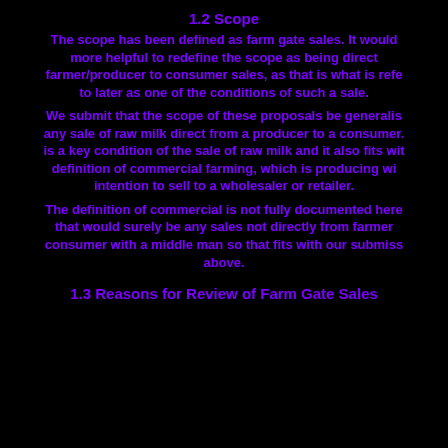1.2 Scope
The scope has been defined as farm gate sales. It would be more helpful to redefine the scope as being direct farmer/producer to consumer sales, as that is what is referred to later as one of the conditions of such a sale.
We submit that the scope of these proposals be generalised to any sale of raw milk direct from a producer to a consumer. This is a key condition of the sale of raw milk and it also fits with the definition of commercial farming, which is producing with the intention to sell to a wholesaler or retailer.
The definition of commercial is not fully documented here, but that would surely be any sales not directly from farmer to consumer with a middle man so that fits with our submission above.
1.3 Reasons for Review of Farm Gate Sales